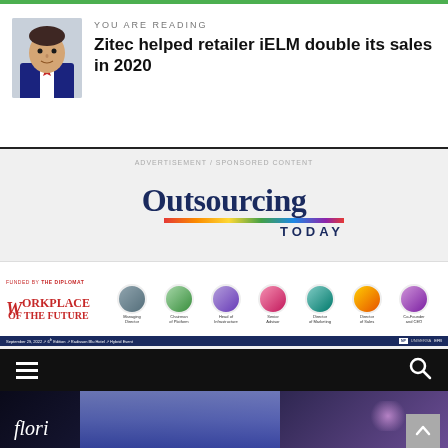YOU ARE READING
Zitec helped retailer iELM double its sales in 2020
[Figure (screenshot): Outsourcing Today magazine logo with rainbow bar and TODAY text]
[Figure (screenshot): Workplace of the Future conference banner - September 29, 2022 - 6th Edition - Radisson Blu Hotel - Hybrid Event - featuring 7 speaker headshots]
[Figure (screenshot): Navigation bar with hamburger menu icon on left and search icon on right, dark background]
[Figure (photo): Dark photo showing 'flori' text in italic white script, blue jeans fabric, and purple light glow]
[Figure (photo): Aerial nature photo showing green vegetation with cyan/teal sculptural elements]